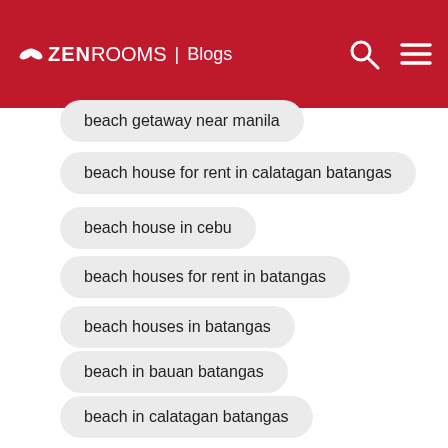ZEN ROOMS | Blogs
beach getaway near manila
beach house for rent in calatagan batangas
beach house in cebu
beach houses for rent in batangas
beach houses in batangas
beach in bauan batangas
beach in calatagan batangas
beach in carmen cebu
beach in laiya batangas